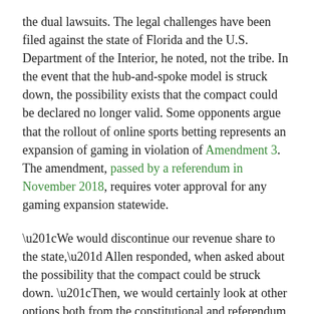the dual lawsuits. The legal challenges have been filed against the state of Florida and the U.S. Department of the Interior, he noted, not the tribe. In the event that the hub-and-spoke model is struck down, the possibility exists that the compact could be declared no longer valid. Some opponents argue that the rollout of online sports betting represents an expansion of gaming in violation of Amendment 3. The amendment, passed by a referendum in November 2018, requires voter approval for any gaming expansion statewide.
“We would discontinue our revenue share to the state,” Allen responded, when asked about the possibility that the compact could be struck down. “Then, we would certainly look at other options both from the constitutional and referendum process.”
Allen also took issue with the customer acquisition model